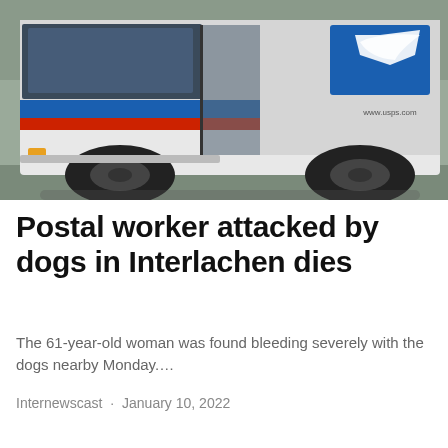[Figure (photo): A white USPS mail delivery truck with blue and red horizontal stripes along the side. The USPS eagle logo is visible on the upper right of the truck. The URL www.usps.com is visible on the side. The truck is parked in what appears to be a parking area.]
Postal worker attacked by dogs in Interlachen dies
The 61-year-old woman was found bleeding severely with the dogs nearby Monday.…
Internewscast · January 10, 2022